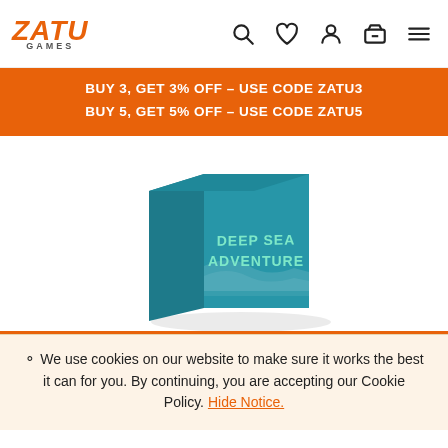[Figure (logo): ZATU GAMES logo in orange italic bold text with 'GAMES' subtitle]
[Figure (illustration): Navigation icons: search (magnifying glass), heart/wishlist, account/person, basket/cart, hamburger menu]
BUY 3, GET 3% OFF – USE CODE ZATU3
BUY 5, GET 5% OFF – USE CODE ZATU5
[Figure (photo): Deep Sea Adventure board game box — teal/blue square box with 'DEEP SEA ADVENTURE' text on the front face, photographed at a slight angle showing two faces of the box]
We use cookies on our website to make sure it works the best it can for you. By continuing, you are accepting our Cookie Policy. Hide Notice.